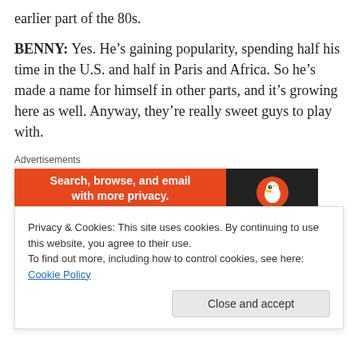earlier part of the 80s.
BENNY: Yes. He’s gaining popularity, spending half his time in the U.S. and half in Paris and Africa. So he’s made a name for himself in other parts, and it’s growing here as well. Anyway, they’re really sweet guys to play with.
[Figure (other): DuckDuckGo advertisement banner: orange left panel with text 'Search, browse, and email with more privacy. All in One Free App' and dark right panel with DuckDuckGo duck logo.]
TP: Let’s move to some of the trombonists who had an impact on you early. We’ll hear Trummy Young with the
Privacy & Cookies: This site uses cookies. By continuing to use this website, you agree to their use. To find out more, including how to control cookies, see here: Cookie Policy
Close and accept
BENNY: As I—